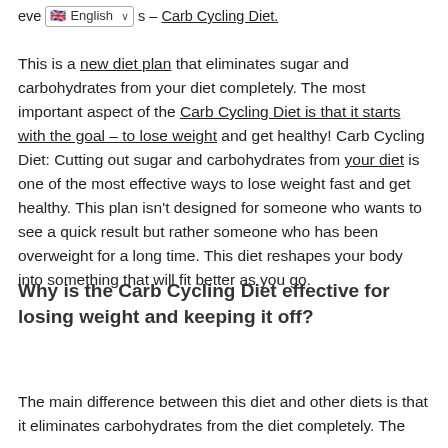eve [English dropdown] s – Carb Cycling Diet.
This is a new diet plan that eliminates sugar and carbohydrates from your diet completely. The most important aspect of the Carb Cycling Diet is that it starts with the goal – to lose weight and get healthy! Carb Cycling Diet: Cutting out sugar and carbohydrates from your diet is one of the most effective ways to lose weight fast and get healthy. This plan isn't designed for someone who wants to see a quick result but rather someone who has been overweight for a long time. This diet reshapes your body into something that will fit better as you go.
Why is the Carb Cycling Diet effective for losing weight and keeping it off?
The main difference between this diet and other diets is that it eliminates carbohydrates from the diet completely. The